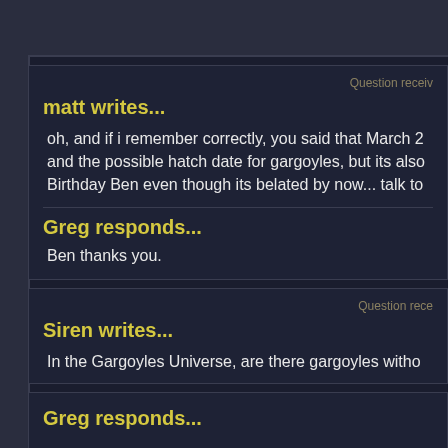Question received
matt writes...
oh, and if i remember correctly, you said that March 2 and the possible hatch date for gargoyles, but its also Birthday Ben even though its belated by now... talk to
Greg responds...
Ben thanks you.
Question rece
Siren writes...
In the Gargoyles Universe, are there gargoyles witho
Greg responds...